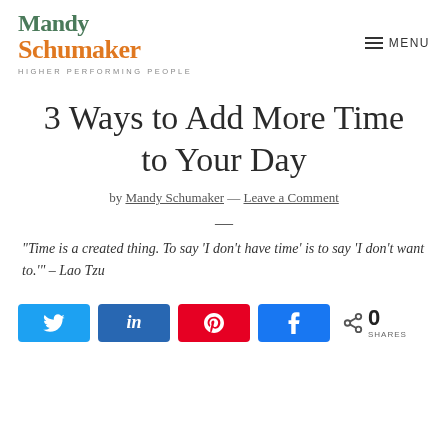Mandy Schumaker | HIGHER PERFORMING PEOPLE | MENU
3 Ways to Add More Time to Your Day
by Mandy Schumaker — Leave a Comment
—
"Time is a created thing. To say 'I don't have time' is to say 'I don't want to.'" – Lao Tzu
0 SHARES